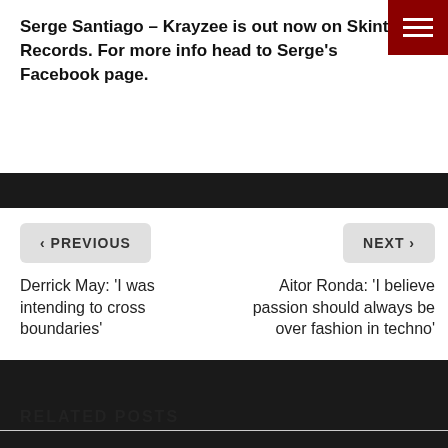Serge Santiago – Krayzee is out now on Skint Records. For more info head to Serge's Facebook page.
< PREVIOUS
NEXT >
Derrick May: 'I was intending to cross boundaries'
Aitor Ronda: 'I believe passion should always be over fashion in techno'
RELATED POSTS